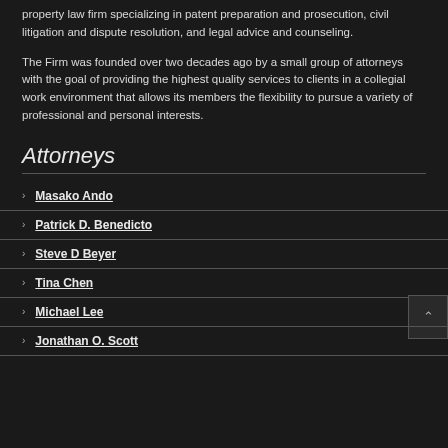property law firm specializing in patent preparation and prosecution, civil litigation and dispute resolution, and legal advice and counseling.
The Firm was founded over two decades ago by a small group of attorneys with the goal of providing the highest quality services to clients in a collegial work environment that allows its members the flexibility to pursue a variety of professional and personal interests.
Attorneys
Masako Ando
Patrick D. Benedicto
Steve D Beyer
Tina Chen
Michael Lee
Jonathan O. Scott